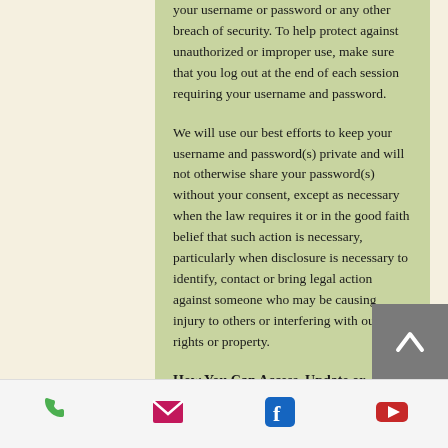your username or password or any other breach of security. To help protect against unauthorized or improper use, make sure that you log out at the end of each session requiring your username and password.
We will use our best efforts to keep your username and password(s) private and will not otherwise share your password(s) without your consent, except as necessary when the law requires it or in the good faith belief that such action is necessary, particularly when disclosure is necessary to identify, contact or bring legal action against someone who may be causing injury to others or interfering with our rights or property.
How You Can Access, Update or
[Figure (other): Scroll-to-top button with upward chevron arrow on grey background]
Phone | Email | Facebook | YouTube icons